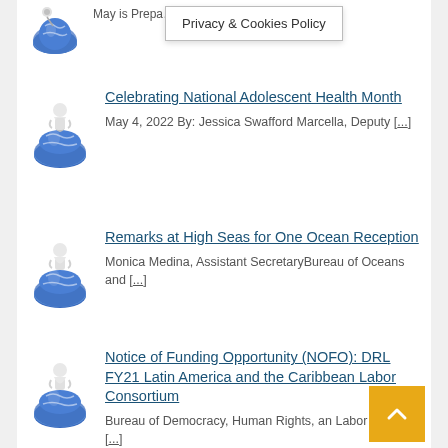May is Prepa... when we focus on [...]
Privacy & Cookies Policy
Celebrating National Adolescent Health Month
May 4, 2022 By: Jessica Swafford Marcella, Deputy [...]
Remarks at High Seas for One Ocean Reception
Monica Medina, Assistant SecretaryBureau of Oceans and [...]
Notice of Funding Opportunity (NOFO): DRL FY21 Latin America and the Caribbean Labor Consortium
Bureau of Democracy, Human Rights, an Labor United [...]